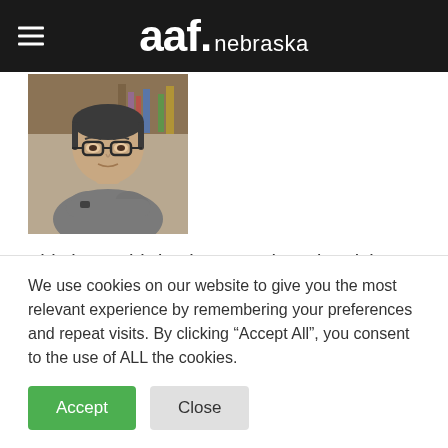aaf. nebraska
[Figure (photo): Headshot photo of a man with glasses, wearing a grey patterned shirt, arms crossed, photographed indoors.]
This is my third column on the advertising innovations introduced by Bill Bernbach, the legendary creative director and founder of Doyle
We use cookies on our website to give you the most relevant experience by remembering your preferences and repeat visits. By clicking “Accept All”, you consent to the use of ALL the cookies.
Accept   Close